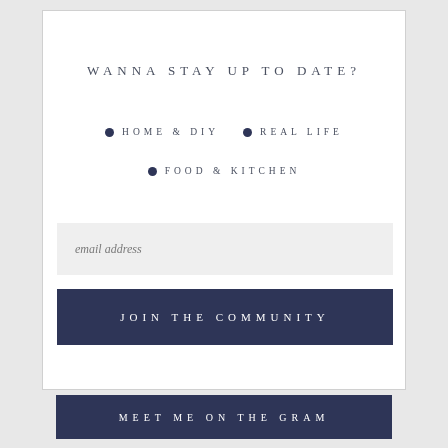WANNA STAY UP TO DATE?
HOME & DIY
REAL LIFE
FOOD & KITCHEN
email address
JOIN THE COMMUNITY
MEET ME ON THE GRAM